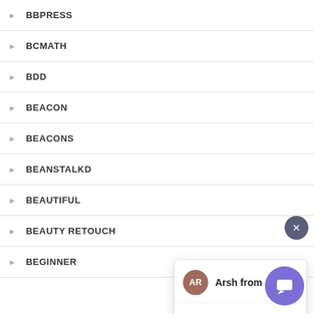BBPRESS
BCMATH
BDD
BEACON
BEACONS
BEANSTALKD
BEAUTIFUL
BEAUTY RETOUCH
BEGINNER
[Figure (screenshot): Chat widget popup showing avatar 'AR' for 'Arsh from', message 'Hi, How can I help you?', and a text input area with placeholder 'Type your message' and a send arrow button. A close button (x) is in the top-right corner and a purple chat launcher button is in the bottom-right.]